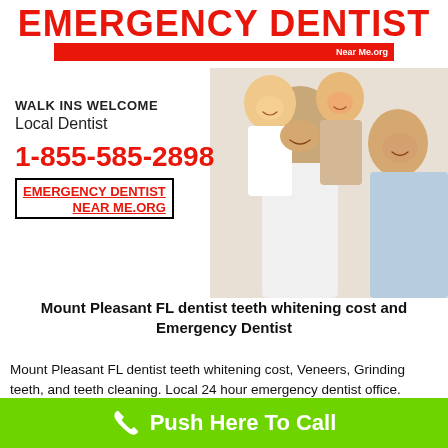EMERGENCY DENTIST Near Me.org
[Figure (photo): Happy family with father, two children on his back, and mother smiling together]
WALK INS WELCOME
Local Dentist
1-855-585-2898
EMERGENCY DENTIST
Mount Pleasant FL dentist teeth whitening cost and Emergency Dentist
Mount Pleasant FL dentist teeth whitening cost, Veneers, Grinding teeth, and teeth cleaning. Local 24 hour emergency dentist office. Urgent care dental
Push Here To Call